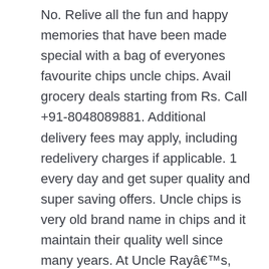No. Relive all the fun and happy memories that have been made special with a bag of everyones favourite chips uncle chips. Avail grocery deals starting from Rs. Call +91-8048089881. Additional delivery fees may apply, including redelivery charges if applicable. 1 every day and get super quality and super saving offers. Uncle chips is very old brand name in chips and it maintain their quality well since many years. At Uncle Rayâs, weâre proud to make our Beyond Good potato chips with real ingredients, in 13 delicious flavors. $25.39 SHOP NOW. Under $10; $10 to $20; $20 to $30; $30 to $50; $50 & Above $ $ Go Snack Food Specialty. Like . Bag. SHOP GROCERY.